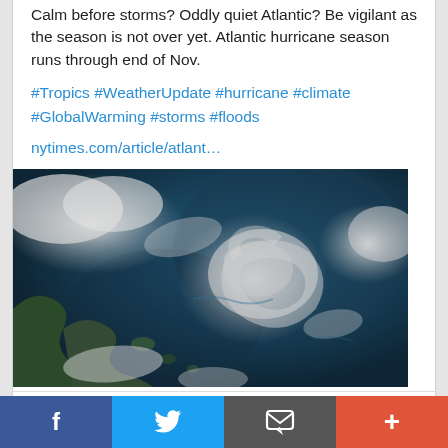Calm before storms? Oddly quiet Atlantic? Be vigilant as the season is not over yet. Atlantic hurricane season runs through end of Nov.
#Tropics #WeatherUpdate #hurricane #climate #GlobalWarming #storms #floods
nytimes.com/article/atlant…
[Figure (photo): Satellite image of the Atlantic Ocean showing cloud formations and tropical weather systems, with green land masses visible in the lower left portion.]
nytimes.com
After a Quiet August, Hurricane Forecasters Are
Facebook  Twitter  Message  More